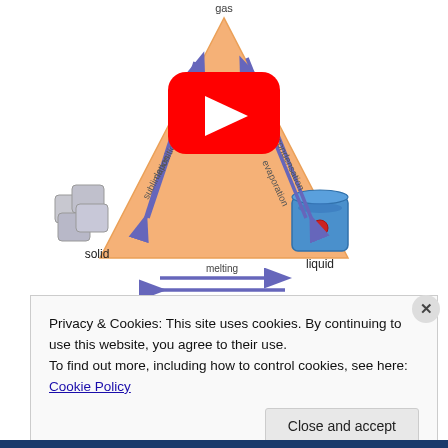[Figure (illustration): States of matter triangle diagram showing solid (ice cubes), liquid (bucket of water), and gas (top vertex). Arrows indicate transitions: sublimation, deposition, evaporation, condensation (top arrows), melting and solidification (bottom arrows). A YouTube play button overlay is shown on the orange triangle.]
Privacy & Cookies: This site uses cookies. By continuing to use this website, you agree to their use.
To find out more, including how to control cookies, see here: Cookie Policy